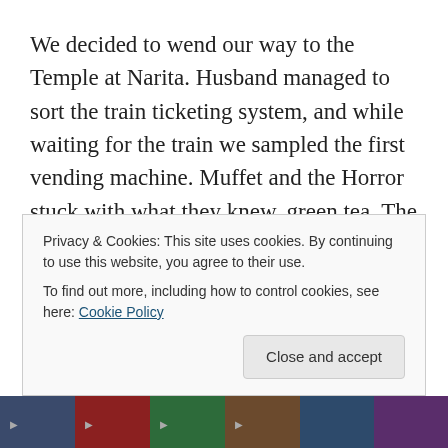We decided to wend our way to the Temple at Narita. Husband managed to sort the train ticketing system, and while waiting for the train we sampled the first vending machine. Muffet and the Horror stuck with what they knew, green tea. The Moose got a honey and lemon drink, which he said was the nicest drink he'd ever had. Husband got a can of coffee. It was at this vending machine that we discovered you can get hot and cold beverages. The honey and lemon, the coffee and one of the green teas was hot. There is actually a red line under the hot ones
Privacy & Cookies: This site uses cookies. By continuing to use this website, you agree to their use.
To find out more, including how to control cookies, see here: Cookie Policy
[Figure (photo): Partial image strip at bottom of page showing colorful photo thumbnails]